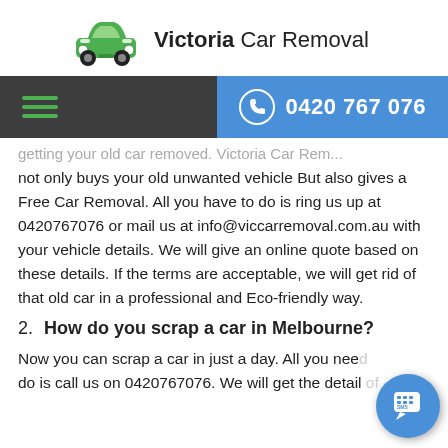[Figure (logo): Green car icon with Victoria Car Removal brand name]
0420 767 076
getting your old car removed. Victoria Car Removal not only buys your old unwanted vehicle But also gives a Free Car Removal. All you have to do is ring us up at 0420767076 or mail us at info@viccarremoval.com.au with your vehicle details. We will give an online quote based on these details. If the terms are acceptable, we will get rid of that old car in a professional and Eco-friendly way.
2. How do you scrap a car in Melbourne?
Now you can scrap a car in just a day. All you need do is call us on 0420767076. We will get the detail of